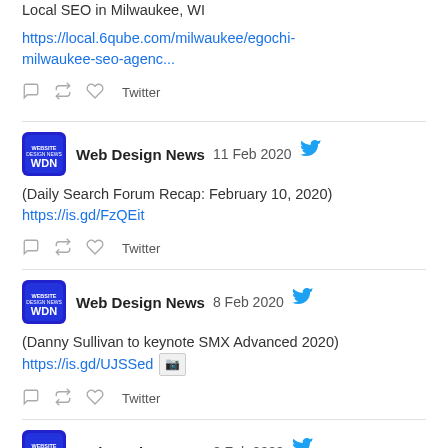Local SEO in Milwaukee, WI
https://local.6qube.com/milwaukee/egochi-milwaukee-seo-agenc...
Twitter
Web Design News 11 Feb 2020
(Daily Search Forum Recap: February 10, 2020) https://is.gd/FzQEit
Twitter
Web Design News 8 Feb 2020
(Danny Sullivan to keynote SMX Advanced 2020) https://is.gd/UJSSed
Twitter
Web Design News 8 Feb 2020